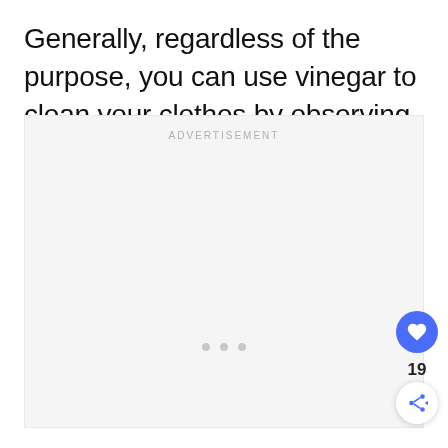Generally, regardless of the purpose, you can use vinegar to clean your clothes by observing the following steps:
[Figure (other): Advertisement placeholder box with 'ADVERTISEMENT' label at top center and three small dots at the bottom center. A blue circular like button with a heart icon is on the right side showing count 19, and a share button below it.]